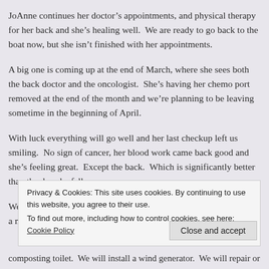JoAnne continues her doctor's appointments, and physical therapy for her back and she's healing well.  We are ready to go back to the boat now, but she isn't finished with her appointments.
A big one is coming up at the end of March, where she sees both the back doctor and the oncologist.  She's having her chemo port removed at the end of the month and we're planning to be leaving sometime in the beginning of April.
With luck everything will go well and her last checkup left us smiling.  No sign of cancer, her blood work came back good and she's feeling great.  Except the back.  Which is significantly better than the day she fell.
We have located, thanks to our friend Kurt Seastead (S/V LoKee) a marina
Privacy & Cookies: This site uses cookies. By continuing to use this website, you agree to their use.
To find out more, including how to control cookies, see here: Cookie Policy
Close and accept
composting toilet.  We will install a wind generator.  We will repair or